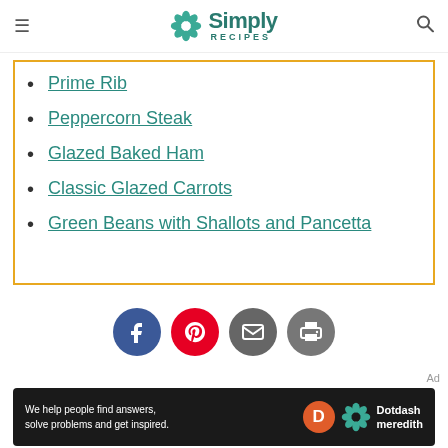Simply Recipes
Prime Rib
Peppercorn Steak
Glazed Baked Ham
Classic Glazed Carrots
Green Beans with Shallots and Pancetta
[Figure (infographic): Social sharing icons: Facebook, Pinterest, Email, Print]
Ad
[Figure (infographic): Dotdash Meredith advertisement banner: We help people find answers, solve problems and get inspired.]